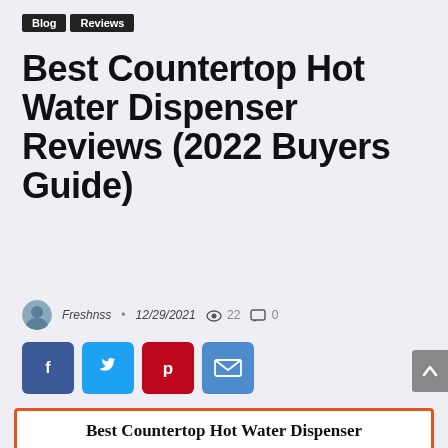Blog | Reviews
Best Countertop Hot Water Dispenser Reviews (2022 Buyers Guide)
Freshnss · 12/29/2021 · 22 views · 0 comments
[Figure (other): Social share buttons: Facebook, Twitter, Pinterest, Email]
[Figure (photo): Featured image showing Best Countertop Hot Water Dispenser with two dispenser products and a circular Buyers Guide badge]